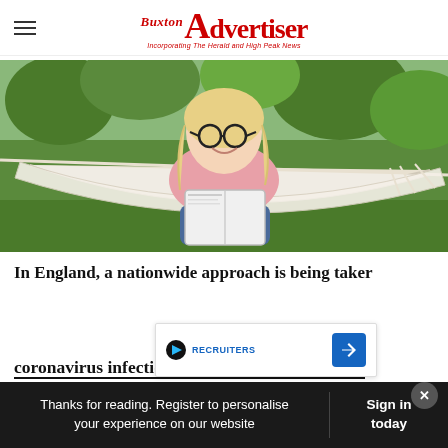Buxton Advertiser — Incorporating The Herald and High Peak News
[Figure (photo): Woman with blonde hair and glasses sitting in a hammock outdoors, reading a book, smiling, wearing a pink top and jeans, with green trees in background]
In England, a nationwide approach is being taken... coronavirus infection rates are relatively similar
Thanks for reading. Register to personalise your experience on our website
Sign in today